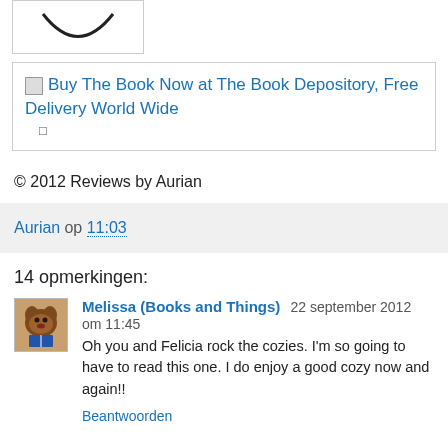[Figure (illustration): Partial view of a book or logo image, cropped at top, showing a curved line on white background inside a bordered box]
Buy The Book Now at The Book Depository, Free Delivery World Wide
© 2012 Reviews by Aurian
Aurian op 11:03
14 opmerkingen:
[Figure (photo): Avatar/profile image of a dog (brown/tan colored) with a book, used as commenter profile picture]
Melissa (Books and Things) 22 september 2012 om 11:45
Oh you and Felicia rock the cozies. I'm so going to have to read this one. I do enjoy a good cozy now and again!!
Beantwoorden